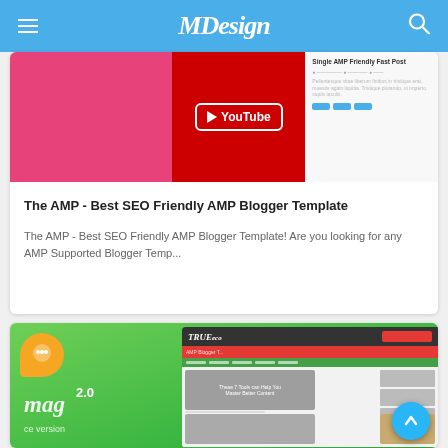MDDesign
[Figure (screenshot): Card showing AMP Blogger Template with pink/YouTube thumbnail and sidebar preview]
The AMP - Best SEO Friendly AMP Blogger Template
The AMP - Best SEO Friendly AMP Blogger Template! Are you looking for any AMP Supported Blogger Temp...
[Figure (screenshot): TrueMag 2.0 AMP Blogger Template green card with website screenshot preview]